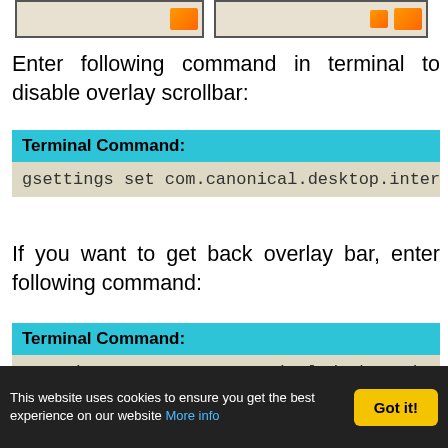[Figure (screenshot): Two screenshot thumbnails showing desktop UI with orange icons]
Enter following command in terminal to disable overlay scrollbar:
| Terminal Command: |
| --- |
| gsettings set com.canonical.desktop.interface scrollba |
If you want to get back overlay bar, enter following command:
| Terminal Command: |
| --- |
| gsettings reset com.canonical.desktop.interface scroll |
This website uses cookies to ensure you get the best experience on our website More info  Got it!